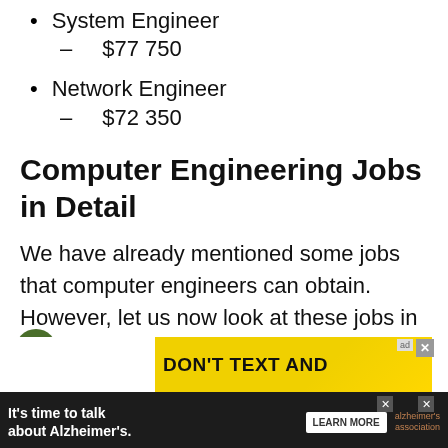System Engineer
– $77 750
Network Engineer
– $72 350
Computer Engineering Jobs in Detail
We have already mentioned some jobs that computer engineers can obtain. However, let us now look at these jobs in more detail.
[Figure (infographic): Advertisement banner at the bottom showing 'DON'T TEXT AND' with a car graphic, and an Alzheimer's awareness ad below it saying 'It's time to talk about Alzheimer's.' with a LEARN MORE button]